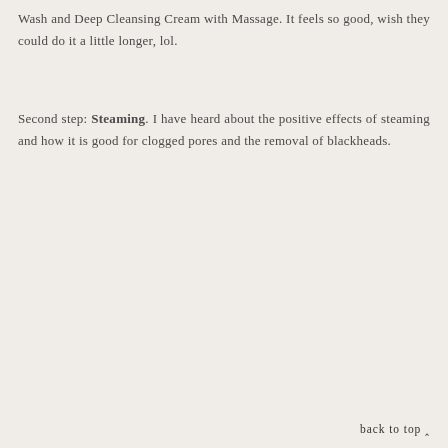Wash and Deep Cleansing Cream with Massage. It feels so good, wish they could do it a little longer, lol.
Second step: Steaming. I have heard about the positive effects of steaming and how it is good for clogged pores and the removal of blackheads.
back to top ∧